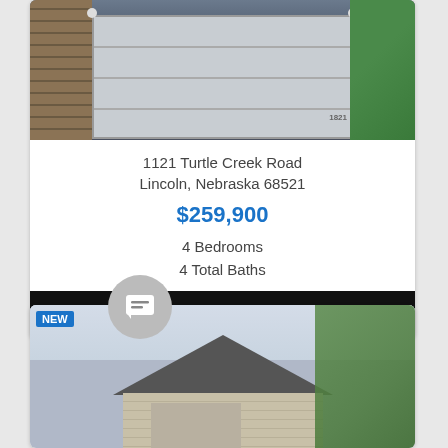[Figure (photo): Exterior photo of a house showing a large white garage door with brick facade]
1121 Turtle Creek Road
Lincoln, Nebraska 68521
$259,900
4 Bedrooms
4 Total Baths
View Details
[Figure (photo): Exterior photo of a house with siding roof and trees]
NEW